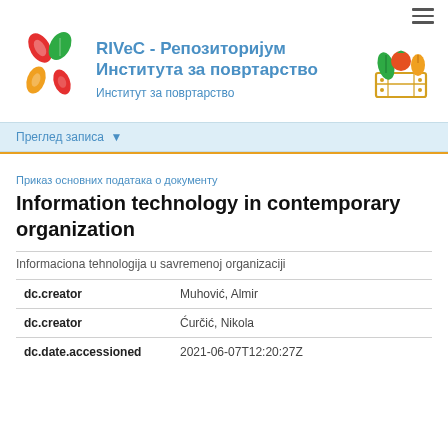[Figure (logo): RIVeC colorful flower/leaf logo on the left]
RIVeC - Репозиторијум Института за повртарство
Институт за повртарство
[Figure (logo): Vegetables in a wooden crate icon on the right]
Преглед записа ▼
Приказ основних података о документу
Information technology in contemporary organization
Informaciona tehnologija u savremenoj organizaciji
| dc.creator | Muhović, Almir |
| dc.creator | Ćurčić, Nikola |
| dc.date.accessioned | 2021-06-07T12:20:27Z |